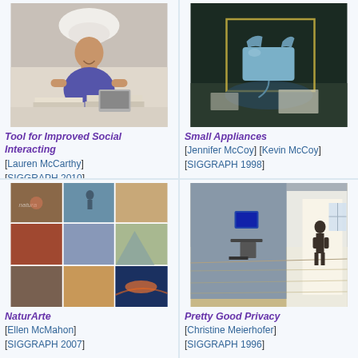[Figure (photo): Woman with white hat sitting at a table with open books and laptop, smiling]
Tool for Improved Social Interacting [Lauren McCarthy] [SIGGRAPH 2010]
[Figure (photo): Dark room with a rotary telephone illuminated by projected light within a glowing square frame on a desk]
Small Appliances [Jennifer McCoy] [Kevin McCoy] [SIGGRAPH 1998]
[Figure (photo): Collage of nature photographs arranged in a grid]
NaturArte [Ellen McMahon] [SIGGRAPH 2007]
[Figure (photo): Gallery space with a monitor on a pedestal and a person standing near a bright doorway]
Pretty Good Privacy [Christine Meierhofer] [SIGGRAPH 1996]